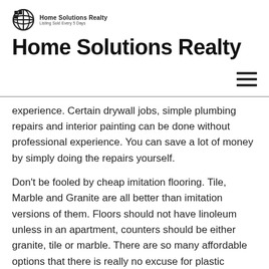Home Solutions Realty — Listing Sold Every 5 Days
Home Solutions Realty
experience. Certain drywall jobs, simple plumbing repairs and interior painting can be done without professional experience. You can save a lot of money by simply doing the repairs yourself.
Don't be fooled by cheap imitation flooring. Tile, Marble and Granite are all better than imitation versions of them. Floors should not have linoleum unless in an apartment, counters should be either granite, tile or marble. There are so many affordable options that there is really no excuse for plastic versions of the real thing.